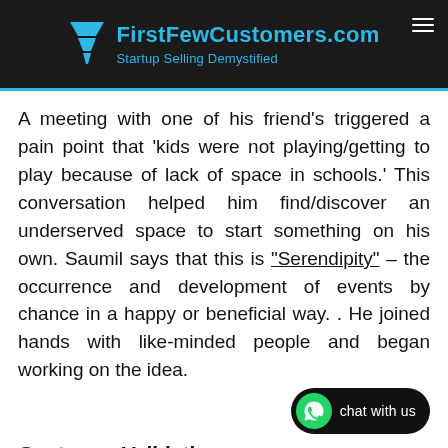FirstFewCustomers.com — Startup Selling Demystified
A meeting with one of his friend's triggered a pain point that 'kids were not playing/getting to play because of lack of space in schools.' This conversation helped him find/discover an underserved space to start something on his own. Saumil says that this is "Serendipity" – the occurrence and development of events by chance in a happy or beneficial way. . He joined hands with like-minded people and began working on the idea.
Customer Validation